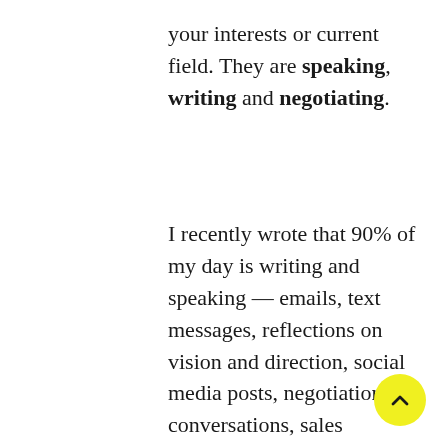your interests or current field. They are speaking, writing and negotiating.
I recently wrote that 90% of my day is writing and speaking — emails, text messages, reflections on vision and direction, social media posts, negotiations, conversations, sales conversations… you name it. It's hard to go wrong with these foundational skills. It's actually something we've put in Constant Student's Exponential Career Challenge.